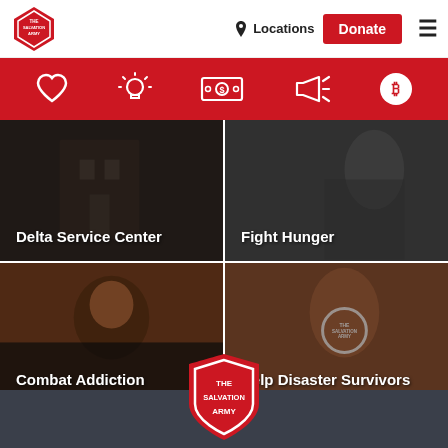[Figure (logo): The Salvation Army shield logo in top-left navigation bar]
Locations
Donate
[Figure (infographic): Red icon bar with heart, lightbulb, dollar bill, megaphone, and Bitcoin icons]
[Figure (photo): Photo tile: Delta Service Center]
[Figure (photo): Photo tile: Fight Hunger]
[Figure (photo): Photo tile: Combat Addiction - man's portrait against brick wall]
[Figure (photo): Photo tile: Help Disaster Survivors - Salvation Army volunteer from behind]
[Figure (logo): Large Salvation Army shield logo centered at bottom of page]